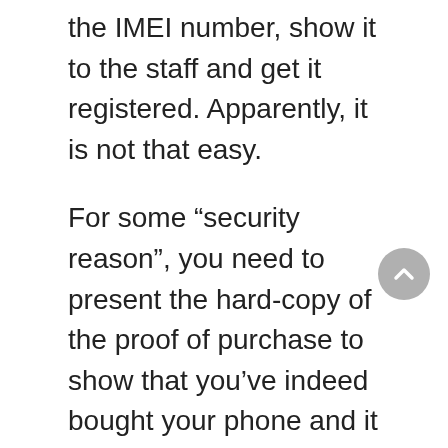the IMEI number, show it to the staff and get it registered. Apparently, it is not that easy.
For some “security reason”, you need to present the hard-copy of the proof of purchase to show that you’ve indeed bought your phone and it is not a stolen phone. But then, it is ridiculous. Why would you need to add to the things that you would pack for an overseas trip?
I was in Claro telco store with some friends and happened to have my receipt in soft-copy when I bought it online but of course, they only can accept it in hard copy, which meant I had to get it printed out!